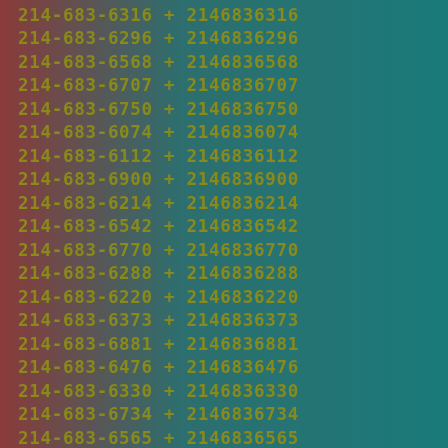214-683-6316 + 2146836316
214-683-6296 + 2146836296
214-683-6568 + 2146836568
214-683-6707 + 2146836707
214-683-6750 + 2146836750
214-683-6074 + 2146836074
214-683-6112 + 2146836112
214-683-6900 + 2146836900
214-683-6214 + 2146836214
214-683-6542 + 2146836542
214-683-6770 + 2146836770
214-683-6288 + 2146836288
214-683-6220 + 2146836220
214-683-6373 + 2146836373
214-683-6881 + 2146836881
214-683-6476 + 2146836476
214-683-6330 + 2146836330
214-683-6734 + 2146836734
214-683-6565 + 2146836565
214-683-6740 + 2146836740
214-683-6377 + 2146836377
214-683-6633 + 2146836633
214-683-6011 + 2146836011